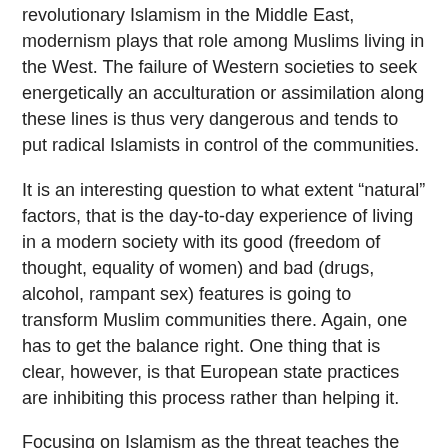revolutionary Islamism in the Middle East, modernism plays that role among Muslims living in the West. The failure of Western societies to seek energetically an acculturation or assimilation along these lines is thus very dangerous and tends to put radical Islamists in control of the communities.
It is an interesting question to what extent “natural” factors, that is the day-to-day experience of living in a modern society with its good (freedom of thought, equality of women) and bad (drugs, alcohol, rampant sex) features is going to transform Muslim communities there. Again, one has to get the balance right. One thing that is clear, however, is that European state practices are inhibiting this process rather than helping it.
Focusing on Islamism as the threat teaches the central importance of allying with genuinely moderate Muslims whose lives and lifestyles are threatened by the radicals. This does not just mean the small number actively trying to “reform” Islam but also the much larger number who just want to be left alone, enjoy freedom, and participate in the benefits of modernity.